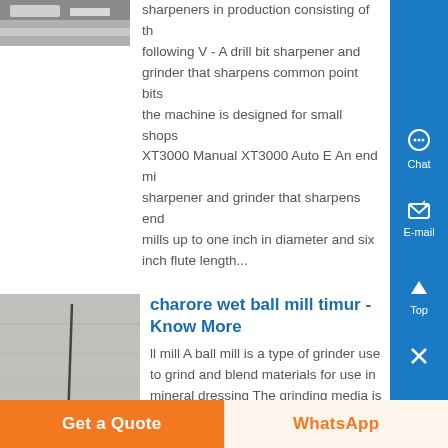[Figure (photo): Top partial image of machinery/equipment, partially cropped at top]
sharpeners in production consisting of the following V - A drill bit sharpener and grinder that sharpens common point bits the machine is designed for small shops XT3000 Manual XT3000 Auto E An end mill sharpener and grinder that sharpens end mills up to one inch in diameter and six inch flute length...
[Figure (photo): Photo of a concrete or stone floor surface with a dark vertical crack or line, a shoe visible at bottom left, watermarked photo]
charore wet ball mill timur - Know More
ll mill A ball mill is a type of grinder used to grind and blend materials for use in mineral dressing The grinding media is the balls, which may be made of steel chrome steel , stainless steel, ceramic, or rubber
Get a Quote
WhatsApp